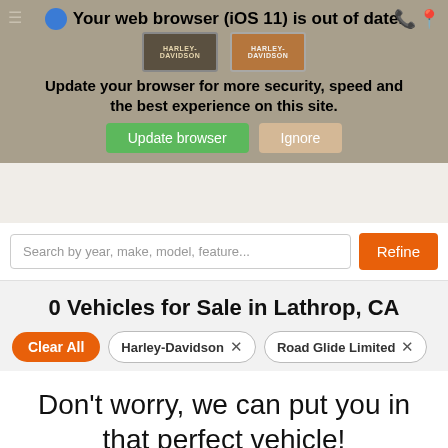[Figure (screenshot): Browser update notification banner with Harley-Davidson logos, showing 'Your web browser (iOS 11) is out of date. Update your browser for more security, speed and the best experience on this site.' with 'Update browser' (green) and 'Ignore' (tan) buttons.]
Search by year, make, model, feature...
0 Vehicles for Sale in Lathrop, CA
Clear All
Harley-Davidson ×
Road Glide Limited ×
Don't worry, we can put you in that perfect vehicle!
No vehicles matched your search query, but we are arriving often and can get one reserved for you. Just let us know what